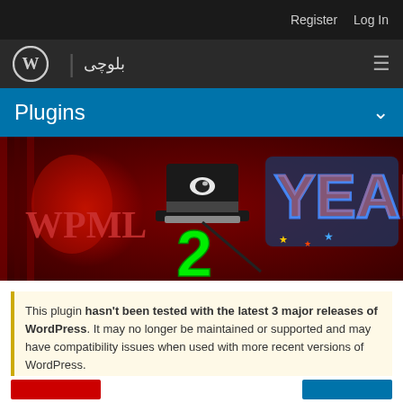Register   Log In
[Figure (logo): WordPress logo (W in circle) followed by vertical divider and Arabic text بلوچی, with hamburger menu icon on right]
Plugins
[Figure (illustration): WPML 2 Years banner: dark red curtain background, glowing red smoke on left with WPML text, magician's top hat with the number 2 in green, and colorful graffiti-style text on right reading YEARS]
This plugin hasn't been tested with the latest 3 major releases of WordPress. It may no longer be maintained or supported and may have compatibility issues when used with more recent versions of WordPress.